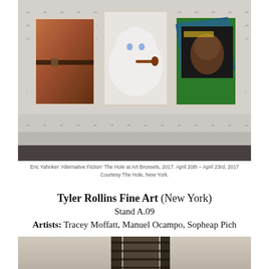[Figure (photo): Gallery installation photo showing three framed paintings hung on a white patterned wallpaper wall. Left: figurative painting of a torso in brown/orange tones. Center: painting of a white fluffy cat smoking a pipe. Right: painting referencing a vinyl record cover with a man's face on green background. Floor is dark gray.]
Eric Yahnker 'Alternative Fiction' The Hole at Art Brussels, 2017. April 20th – April 23rd, 2017
Courtesy The Hole, New York.
Tyler Rollins Fine Art (New York)
Stand A.09
Artists: Tracey Moffatt, Manuel Ocampo, Sopheap Pich
[Figure (photo): Partial photo showing the bottom portion of an artwork or sculpture in a warm beige/brown toned space, with a dark vertical ladder-like or architectural structural element visible in the center.]